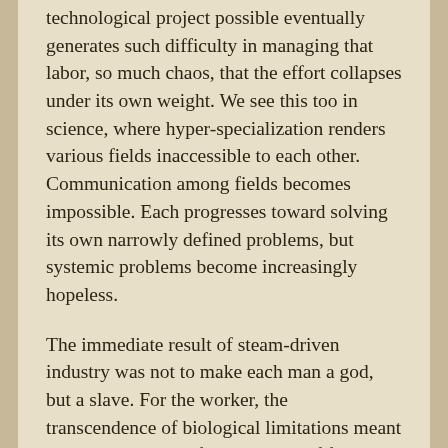technological project possible eventually generates such difficulty in managing that labor, so much chaos, that the effort collapses under its own weight. We see this too in science, where hyper-specialization renders various fields inaccessible to each other. Communication among fields becomes impossible. Each progresses toward solving its own narrowly defined problems, but systemic problems become increasingly hopeless.
The immediate result of steam-driven industry was not to make each man a god, but a slave. For the worker, the transcendence of biological limitations meant the subordination of the rhythms of flesh and blood to the rhythm of the machine: never tiring, never requiring food, sleep, or rest. Kirkpatrick Sale describes it thus: “The task for the factory owner was to make sure that workers would be disciplined to serve the needs of the machines–‘in training human beings,’